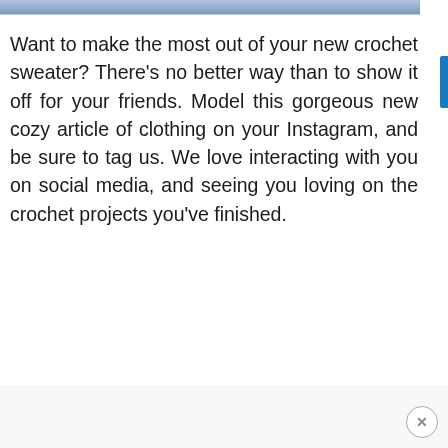[Figure (photo): Partial bottom edge of a photo showing what appears to be jeans/denim clothing, cropped at the top of the page]
Want to make the most out of your new crochet sweater? There's no better way than to show it off for your friends. Model this gorgeous new cozy article of clothing on your Instagram, and be sure to tag us. We love interacting with you on social media, and seeing you loving on the crochet projects you've finished.